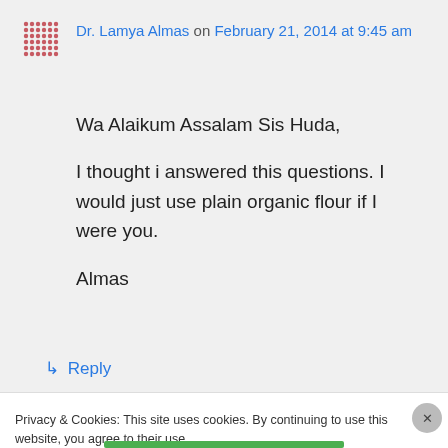Dr. Lamya Almas on February 21, 2014 at 9:45 am
Wa Alaikum Assalam Sis Huda,

I thought i answered this questions. I would just use plain organic flour if I were you.

Almas
↳ Reply
Privacy & Cookies: This site uses cookies. By continuing to use this website, you agree to their use.
To find out more, including how to control cookies, see here: Cookie Policy